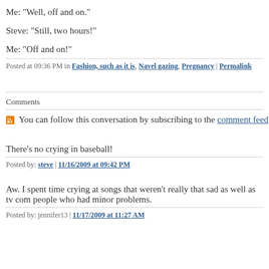Me: "Well, off and on."
Steve: "Still, two hours!"
Me: "Off and on!"
Posted at 09:36 PM in Fashion, such as it is, Navel gazing, Pregnancy | Permalink
Comments
You can follow this conversation by subscribing to the comment feed for t
There's no crying in baseball!
Posted by: steve | 11/16/2009 at 09:42 PM
Aw. I spent time crying at songs that weren't really that sad as well as tv com people who had minor problems.
Posted by: jennifer13 | 11/17/2009 at 11:27 AM